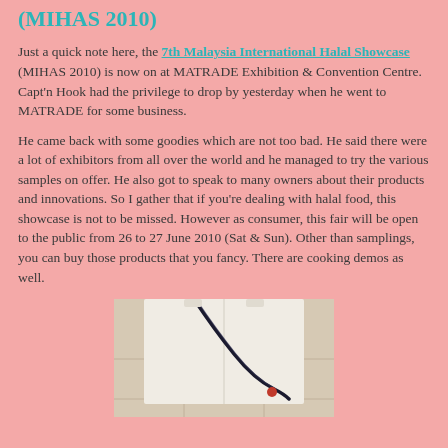(MIHAS 2010)
Just a quick note here, the 7th Malaysia International Halal Showcase (MIHAS 2010) is now on at MATRADE Exhibition & Convention Centre. Capt'n Hook had the privilege to drop by yesterday when he went to MATRADE for some business.
He came back with some goodies which are not too bad. He said there were a lot of exhibitors from all over the world and he managed to try the various samples on offer. He also got to speak to many owners about their products and innovations. So I gather that if you're dealing with halal food, this showcase is not to be missed. However as consumer, this fair will be open to the public from 26 to 27 June 2010 (Sat & Sun). Other than samplings, you can buy those products that you fancy. There are cooking demos as well.
[Figure (photo): A white tote bag with a dark lanyard/strap visible, on a tiled floor surface.]